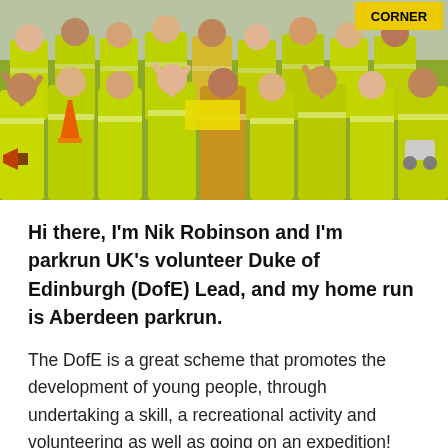[Figure (photo): A group of people in yellow high-visibility vests celebrating outdoors at a parkrun event. A sign reading 'CORNER' is visible in the top right. People are cheering, waving, and smiling.]
Hi there, I'm Nik Robinson and I'm parkrun UK's volunteer Duke of Edinburgh (DofE) Lead, and my home run is Aberdeen parkrun.
The DofE is a great scheme that promotes the development of young people, through undertaking a skill, a recreational activity and volunteering as well as going on an expedition! The time to be spent on each section depends on which of the levels of award, Bronze (3-6 months), Silver (6-9